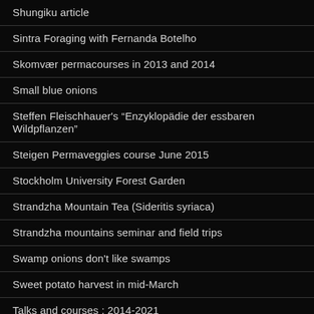Shungiku article
Sintra Foraging with Fernanda Botelho
Skomvær permacourses in 2013 and 2014
Small blue onions
Steffen Fleischhauer's “Enzyklopädie der essbaren Wildpflanzen”
Steigen Permaveggies course June 2015
Stockholm University Forest Garden
Strandzha Mountain Tea (Sideritis syriaca)
Strandzha mountains seminar and field trips
Swamp onions don't like swamps
Sweet potato harvest in mid-March
Talks and courses : 2014-2021
Taraxacum albidum